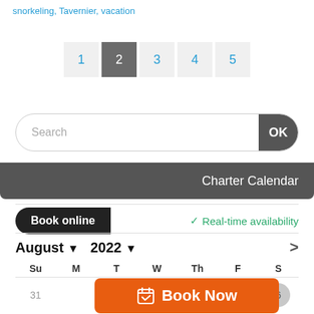snorkeling, Tavernier, vacation
1 2 3 4 5 (pagination)
Search | OK
Charter Calendar
Book online  ✓ Real-time availability
August ▾  2022 ▾  >
| Su | M | T | W | Th | F | S |
| --- | --- | --- | --- | --- | --- | --- |
| 31 |  |  |  |  |  | 6 |
| 7 | 8 | 9 | 10 | 11 | 12 | 13 |
Book Now